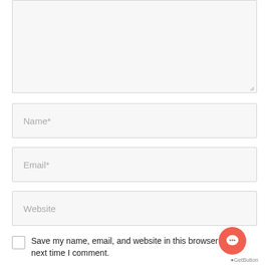[Figure (screenshot): Textarea input field (empty, resizable) with light gray background and border]
Name*
Email*
Website
Save my name, email, and website in this browser for the next time I comment.
[Figure (other): GetButton chat bubble widget - orange/red circular button with speech bubble icon, and GetButton logo text]